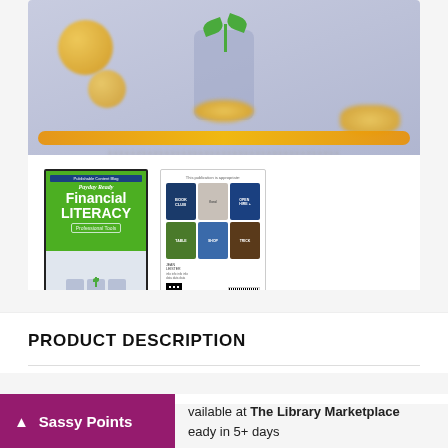[Figure (illustration): Book cover illustration showing jars with coins and plant, with orange bar at bottom. Two thumbnails: front cover of 'Payday Ready Financial Literacy Professional Tools' and back cover showing a grid of 6 book images.]
PRODUCT DESCRIPTION
available at The Library Marketplace
eady in 5+ days
Sassy Points